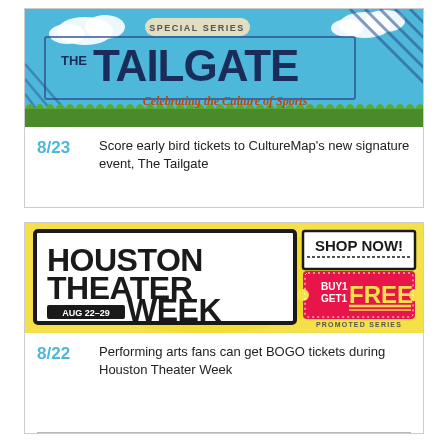[Figure (illustration): The Tailgate special series promotional banner with sky blue background, grass, clouds, diagonal stripes, and text 'SPECIAL SERIES / THE TAILGATE / Celebrating the Culture of Sports']
8/23   Score early bird tickets to CultureMap's new signature event, The Tailgate
[Figure (illustration): Houston Theater Week promotional banner: yellow background with bold black text 'HOUSTON THEATER WEEK AUG 22-29', 'SHOP NOW!', red ticket shape with 'BUY1 GET1 FREE', 'PROMOTED SERIES']
8/22   Performing arts fans can get BOGO tickets during Houston Theater Week